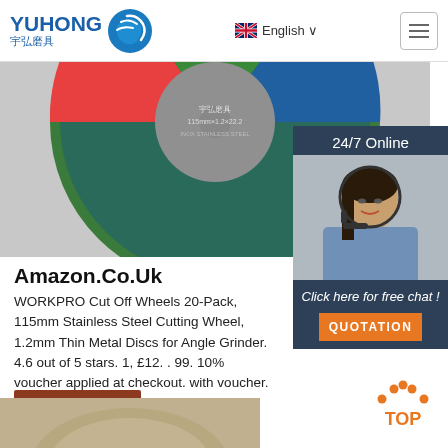[Figure (logo): Yuhong logo with Chinese text 宇弘磨具 and blue wave/globe icon]
English ∨
[Figure (photo): Partial view of a green/blue/red cut-off grinding wheel disc]
[Figure (photo): 24/7 Online customer service agent - woman with headset smiling, with 'Click here for free chat!' text and QUOTATION button]
Amazon.Co.Uk
WORKPRO Cut Off Wheels 20-Pack, 115mm Stainless Steel Cutting Wheel, 1.2mm Thin Metal Discs for Angle Grinder. 4.6 out of 5 stars. 1, £12. . 99. 10% voucher applied at checkout. with voucher.
[Figure (other): Get Price button - dark brown/red background]
[Figure (other): TOP button with orange dots arc icon]
[Figure (photo): Partial bottom image showing beige/tan colored object]